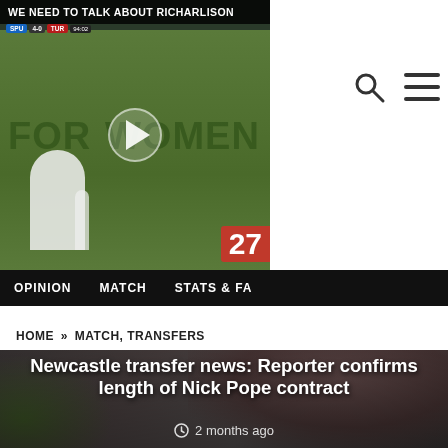[Figure (screenshot): Video thumbnail of a football match with 'We Need To Talk About Richarlison' title bar and play button overlay. Shows players on a green pitch with 'FOR' and 'WOMEN' text visible in the background. Score overlay with team badges and number 27 in red.]
[Figure (screenshot): Search (magnifying glass) and hamburger menu icons in top right corner]
OPINION   MATCH   STATS & FA
HOME » MATCH, TRANSFERS
[Figure (photo): Background photo of Nick Pope (goalkeeper) wearing a dark red/black kit, with blurred stadium background]
Newcastle transfer news: Reporter confirms length of Nick Pope contract
2 months ago